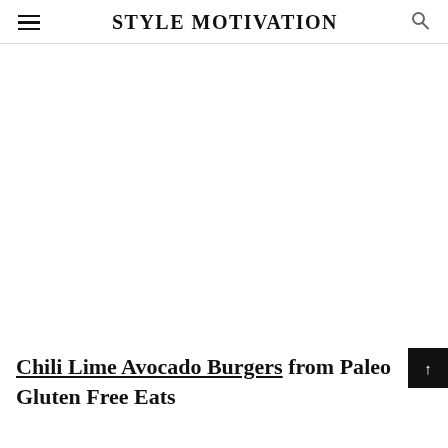STYLE MOTIVATION
[Figure (photo): Large white/blank image area, likely a food photo placeholder]
Chili Lime Avocado Burgers from Paleo Gluten Free Eats